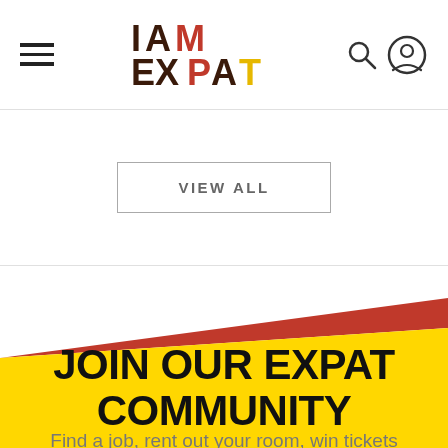[Figure (logo): IAmExpat logo with colored block letters — I and A in dark brown/black, M in red, EX in dark, P in red/yellow, A in dark, T in yellow]
VIEW ALL
JOIN OUR EXPAT COMMUNITY
Find a job, rent out your room, win tickets and more...